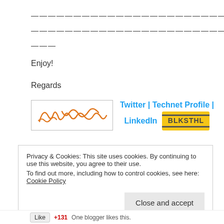———————————————————————————————————————
———————————————————————————————————————
———
Enjoy!
Regards
[Figure (illustration): Handwritten orange signature above social media links: Twitter | Technet Profile | LinkedIn with BLKSTHL logo]
Privacy & Cookies: This site uses cookies. By continuing to use this website, you agree to their use.
To find out more, including how to control cookies, see here: Cookie Policy
Close and accept
One blogger likes this.